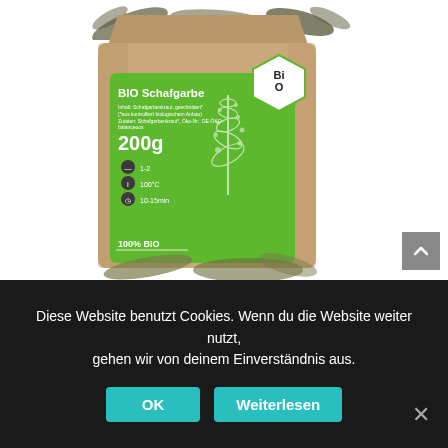[Figure (photo): BIO Schafgarbe product photo: kraft paper stand-up pouch with green label showing 'BIO Schafgarbe', 200g, 1-2 teaspoons, 100°C, 10-15min, 100% BIO, with BIO certification badge. Dried yarrow herbs visible at base.]
Diese Website benutzt Cookies. Wenn du die Website weiter nutzt, gehen wir von deinem Einverständnis aus.